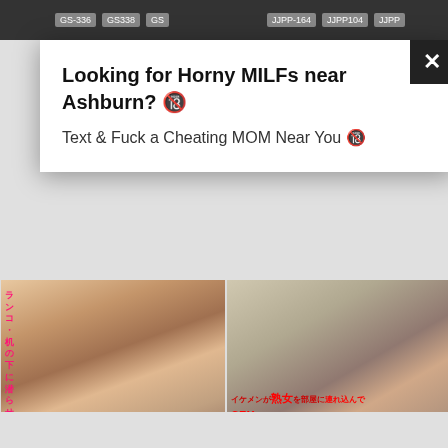[Figure (screenshot): Adult content website screenshot showing a popup advertisement and video thumbnails with Japanese text]
Looking for Horny MILFs near Ashburn? 🔞
Text & Fuck a Cheating MOM Near You 🔞
[GS-336]A Petite Female Employee Corruption Breaking In Session This
[JJPP-164]Peeping Video Shows Prettyboy Bringing Mature Woman Home For